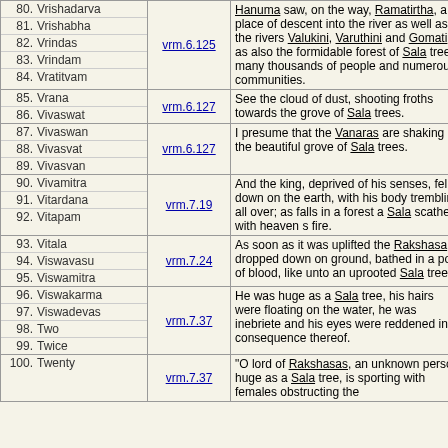| # | Name | Reference | Text |
| --- | --- | --- | --- |
| 80. | Vrishadarva |  | Hanuma saw, on the way, Ramatirtha, a place of descent into the river as well as the rivers Valukini, Varuthini and Gomati as also the formidable forest of Sala trees, many thousands of people and numerous communities. |
| 81. | Vrishabha | vrm.6.125 |  |
| 82. | Vrindas | vrm.6.125 |  |
| 83. | Vrindam | vrm.6.125 |  |
| 84. | Vratitvam | vrm.6.125 |  |
| 85. | Vrana |  | See the cloud of dust, shooting froths towards the grove of Sala trees. |
| 86. | Vivaswat | vrm.6.127 |  |
| 87. | Vivaswan |  | I presume that the Vanaras are shaking the beautiful grove of Sala trees. |
| 88. | Vivasvat | vrm.6.127 |  |
| 89. | Vivasvan | vrm.6.127 |  |
| 90. | Vivamitra |  | And the king, deprived of his senses, fell down on the earth, with his body trembling all over; as falls in a forest a Sala scathed with heaven s fire. |
| 91. | Vitardana | vrm.7.19 |  |
| 92. | Vitapam | vrm.7.19 |  |
| 93. | Vitala |  | As soon as it was uplifted the Rakshasa dropped down on ground, bathed in a pool of blood, like unto an uprooted Sala tree. |
| 94. | Viswavasu | vrm.7.24 |  |
| 95. | Viswamitra | vrm.7.24 |  |
| 96. | Viswakarma |  | He was huge as a Sala tree, his hairs were floating on the water, he was inebriete and his eyes were reddened in consequence thereof. |
| 97. | Viswadevas | vrm.7.37 |  |
| 98. | Two | vrm.7.37 |  |
| 99. | Twice | vrm.7.37 |  |
| 100. | Twenty |  | "O lord of Rakshasas, an unknown person, huge as a Sala tree, is sporting with females obstructing the |